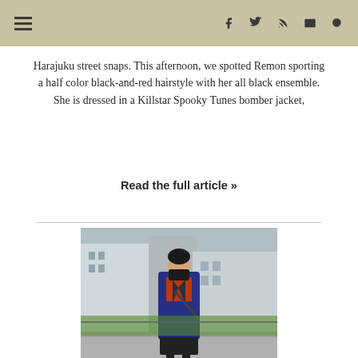≡   f  t  ⊞  ✉  🔍
Harajuku street snaps. This afternoon, we spotted Remon sporting a half color black-and-red hairstyle with her all black ensemble. She is dressed in a Killstar Spooky Tunes bomber jacket,
Read the full article »
[Figure (photo): A person wearing a black face mask, dark blue/black long coat over an orange top, black skirt, and black leggings/boots, standing on a street in Harajuku with buildings in the background.]